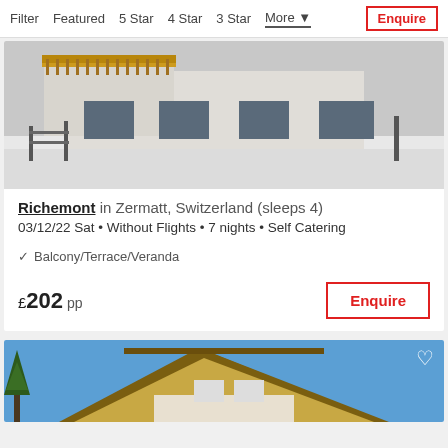Filter  Featured  5 Star  4 Star  3 Star  More  Enquire
[Figure (photo): Exterior of a chalet-style building in a snowy alpine setting with wooden balcony railings, white walls, dark windows, and snow-covered ground]
Richemont in Zermatt, Switzerland (sleeps 4)
03/12/22 Sat • Without Flights • 7 nights • Self Catering
Balcony/Terrace/Veranda
£202 pp
Enquire
[Figure (photo): Partial view of a chalet building exterior with wooden roof overhang and blue sky in the background]